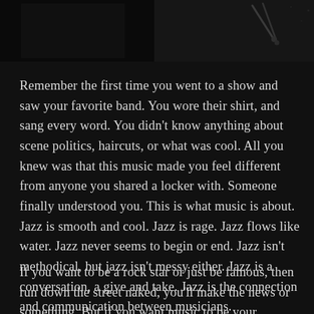[Figure (photo): Dark background with a partial concert/music performance photo showing what appears to be a drum kit or instruments on the right side, against a very dark/black background.]
Remember the first time you went to a show and saw your favorite band. You wore their shirt, and sang every word. You didn't know anything about scene politics, haircuts, or what was cool. All you knew was that this music made you feel different from anyone you shared a locker with. Someone finally understood you. This is what music is about. Jazz is smooth and cool. Jazz is rage. Jazz flows like water. Jazz never seems to begin or end. Jazz isn't methodical, but jazz isn't messy either. Jazz is a conversation, a give and take. Jazz is the connection and communication between musicians.
If you want to be a rock star or just be famous, then run down the street naked, you'll make the news or something. But if you want music to be your livelihood, then play, play,